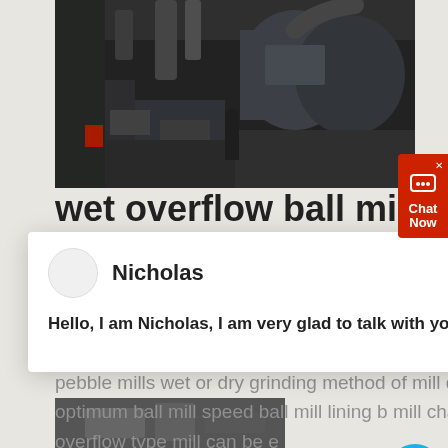[Figure (photo): Industrial ball mill equipment in a factory/plant setting, showing large cylindrical grinding equipment with pipes and machinery]
wet overflow ball mill for
[Figure (screenshot): Chat popup overlay with agent named Nicholas saying 'Hello, I am Nicholas, I am very glad to talk with you!']
pebble mills wet or dry grinding method of mill discharge optimum ball mill speed ball mill lining b... mill charge volume any overflow type mill can be eas... converted to a grate discharge type by merely adding the improved grate head liners and the proper shell liners get price
[Figure (photo): Partial view of another industrial mill equipment photo at the bottom of the page]